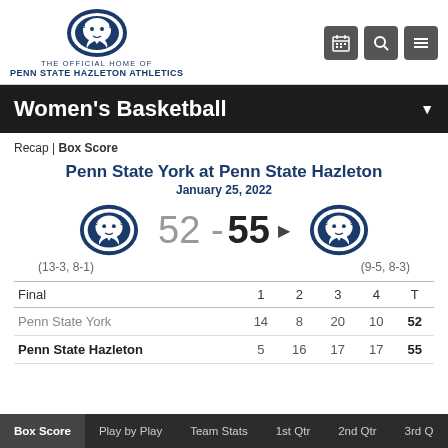THE OFFICIAL HOME OF PENN STATE HAZLETON ATHLETICS
Women's Basketball
Recap | Box Score
Penn State York at Penn State Hazleton
January 25, 2022
52 - 55
(13-3, 8-1)
(9-5, 8-3)
| Final | 1 | 2 | 3 | 4 | T |
| --- | --- | --- | --- | --- | --- |
| Penn State York | 14 | 8 | 20 | 10 | 52 |
| Penn State Hazleton | 5 | 16 | 17 | 17 | 55 |
Box Score | Play by Play | Team Stats | 1st Qtr | 2nd Qtr | 3rd Q